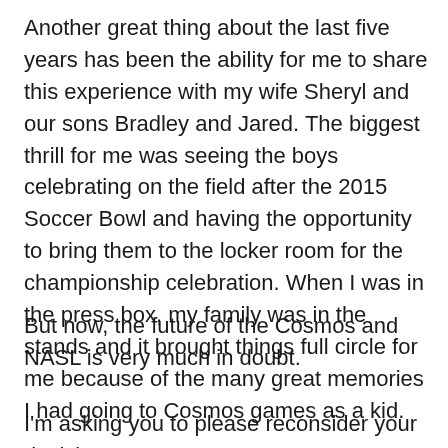Another great thing about the last five years has been the ability for me to share this experience with my wife Sheryl and our sons Bradley and Jared. The biggest thrill for me was seeing the boys celebrating on the field after the 2015 Soccer Bowl and having the opportunity to bring them to the locker room for the championship celebration. When I was in the press box, my family was in the stands and it brought things full circle for me because of the many great memories I had going to Cosmos games as a kid.
But now, the future of the Cosmos and NASL is very much in doubt.
I'm asking you to please reconsider your decision not